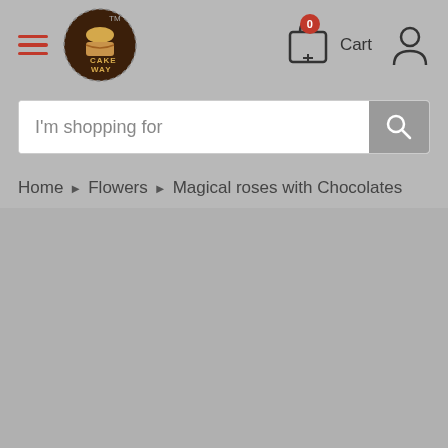[Figure (screenshot): Website header with hamburger menu, Cake Way logo, cart icon with 0 badge, Cart label, and user account icon]
[Figure (screenshot): Search bar with placeholder text 'I'm shopping for' and a search button]
Home > Flowers > Magical roses with Chocolates
[Figure (photo): Large gray placeholder content area below breadcrumb]